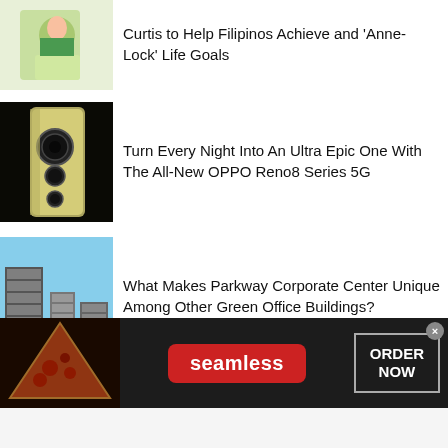Curtis to Help Filipinos Achieve and 'Anne-Lock' Life Goals
Turn Every Night Into An Ultra Epic One With The All-New OPPO Reno8 Series 5G
What Makes Parkway Corporate Center Unique Among Other Green Office Buildings?
[Figure (screenshot): Advertisement banner for Seamless food delivery service showing pizza image, Seamless logo in red, and ORDER NOW button on dark background]